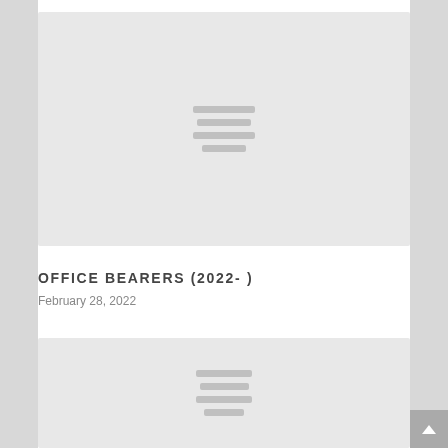[Figure (other): Grey placeholder card with centered horizontal lines indicating a loading image or thumbnail]
OFFICE BEARERS (2022- )
February 28, 2022
[Figure (other): Grey placeholder card with centered horizontal lines indicating a loading image or thumbnail (second card, partially visible)]